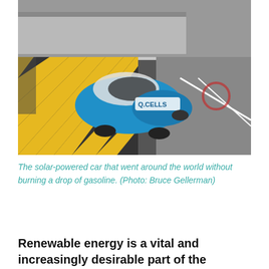[Figure (photo): A blue solar-powered car branded 'Q.CELLS' on a road with yellow-and-black diagonal striped barriers/ramps, viewed from a slightly elevated angle. The car appears to be navigating or resting on a striped ramp structure.]
The solar-powered car that went around the world without burning a drop of gasoline. (Photo: Bruce Gellerman)
Renewable energy is a vital and increasingly desirable part of the world's